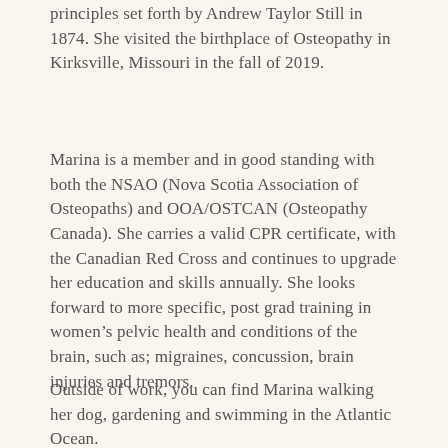principles set forth by Andrew Taylor Still in 1874. She visited the birthplace of Osteopathy in Kirksville, Missouri in the fall of 2019.
Marina is a member and in good standing with both the NSAO (Nova Scotia Association of Osteopaths) and OOA/OSTCAN (Osteopathy Canada). She carries a valid CPR certificate, with the Canadian Red Cross and continues to upgrade her education and skills annually. She looks forward to more specific, post grad training in women's pelvic health and conditions of the brain, such as; migraines, concussion, brain injuries and tremors.
Outside of work, you can find Marina walking her dog, gardening and swimming in the Atlantic Ocean.